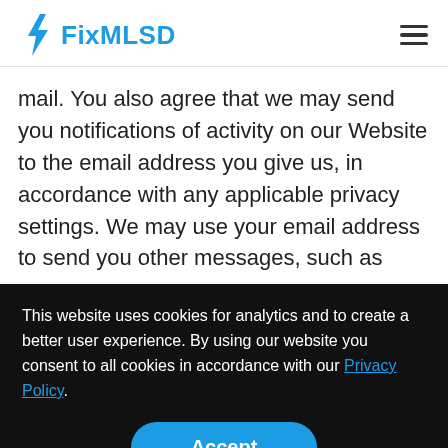FixMLSD
mail. You also agree that we may send you notifications of activity on our Website to the email address you give us, in accordance with any applicable privacy settings. We may use your email address to send you other messages, such as
This website uses cookies for analytics and to create a better user experience. By using our website you consent to all cookies in accordance with our Privacy Policy.
Accept